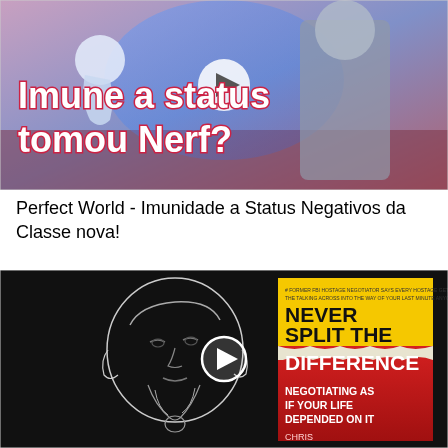[Figure (screenshot): Video thumbnail from a game (Perfect World mobile) showing anime-style characters with text overlay in Portuguese: 'Imune a status tomou Nerf?' with a play button in the center.]
Perfect World - Imunidade a Status Negativos da Classe nova!
[Figure (screenshot): Video thumbnail showing a pencil-sketch portrait of a bearded man on the left and the book cover 'Never Split the Difference: Negotiating As If Your Life Depended On It' on the right against a black background, with a play button in the center.]